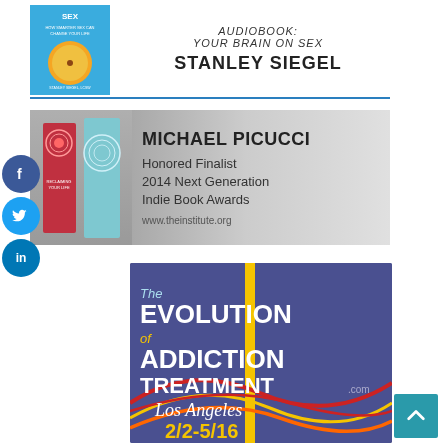[Figure (illustration): Audiobook banner for 'Your Brain on Sex' by Stanley Siegel. Left side shows book cover with blue background and orange/yellow citrus fruit image. Right side shows text: AUDIOBOOK: YOUR BRAIN ON SEX in italic letters, and STANLEY SIEGEL in bold black.]
[Figure (illustration): Banner for Michael Picucci. Gray gradient background. Left side shows two book covers (pink/red and blue/teal). Right side text: MICHAEL PICUCCI, Honored Finalist, 2014 Next Generation Indie Book Awards, www.theinstitute.org]
[Figure (illustration): Banner for The Evolution of Addiction Treatment .com. Blue/purple gradient background with yellow vertical stripe. White large text: The EVOLUTION of ADDICTION TREATMENT .com. Below: Los Angeles in cursive-style white text. Date: 2/2-5/16 in large yellow text. Colorful curved lines (red, yellow, orange) across bottom.]
[Figure (illustration): Social media sidebar with three circular buttons: Facebook (blue, f), Twitter (light blue, bird icon), LinkedIn (dark blue, in)]